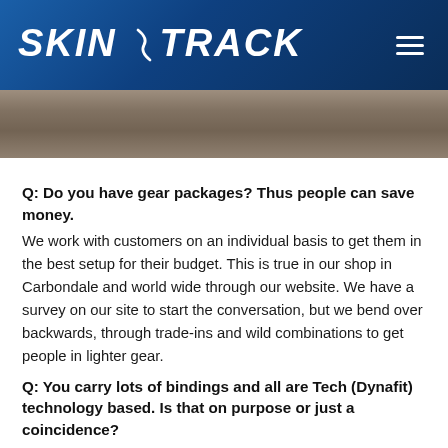SKIN TRACK
[Figure (photo): Partial photo of ski equipment on a rack or table, visible at the top of the content area]
Q: Do you have gear packages? Thus people can save money.
We work with customers on an individual basis to get them in the best setup for their budget. This is true in our shop in Carbondale and world wide through our website. We have a survey on our site to start the conversation, but we bend over backwards, through trade-ins and wild combinations to get people in lighter gear.
Q: You carry lots of bindings and all are Tech (Dynafit) technology based. Is that on purpose or just a coincidence?
Doug: Randy and I both started on plate bindings and